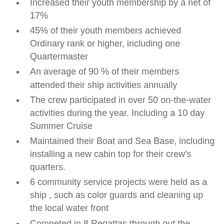Increased their youth membership by a net of 17%
45% of their youth members achieved Ordinary rank or higher, including one Quartermaster
An average of 90 % of their members attended their ship activities annually
The crew participated in over 50 on-the-water activities during the year. Including a 10 day Summer Cruise
Maintained their Boat and Sea Base, including installing a new cabin top for their crew's quarters.
6 community service projects were held as a ship , such as color guards and cleaning up the local water front
Competed in 8 Regattas through out the region; hosted 2 Regattas; participated in Safety at Sea at Yerba Buena Island; participated in many more active meetings and months of events too